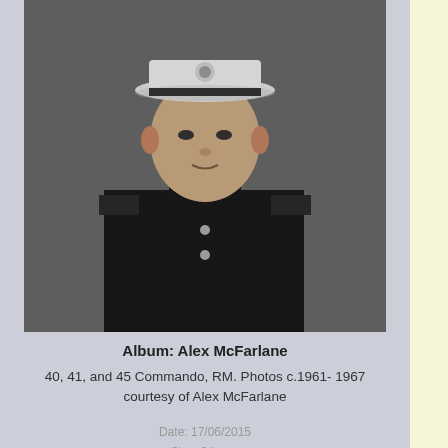[Figure (photo): Black and white portrait photo of a military officer in dark uniform with white peaked cap]
Album: Alex McFarlane
40, 41, and 45 Commando, RM. Photos c.1961- 1967 courtesy of Alex McFarlane
Date: 17/06/2015
Size: 6 items
Views: 2249
[Figure (photo): Partially visible photo - brick or stone architectural detail (Lance album)]
Lance
45
Fall
Pic
first    previous
Page: 1  2  3  4  5
© Commando Veterans Archive 2006 -